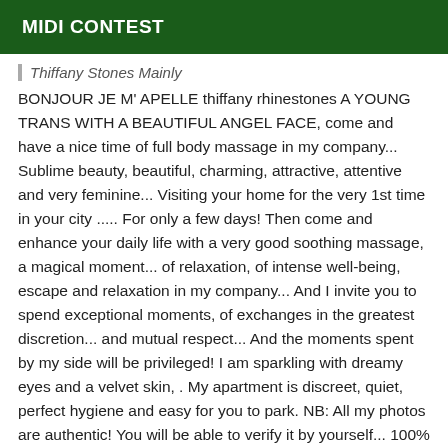MIDI CONTEST
Thiffany Stones Mainly
BONJOUR JE M' APELLE thiffany rhinestones A YOUNG TRANS WITH A BEAUTIFUL ANGEL FACE, come and have a nice time of full body massage in my company... Sublime beauty, beautiful, charming, attractive, attentive and very feminine... Visiting your home for the very 1st time in your city ..... For only a few days! Then come and enhance your daily life with a very good soothing massage, a magical moment... of relaxation, of intense well-being, escape and relaxation in my company... And I invite you to spend exceptional moments, of exchanges in the greatest discretion... and mutual respect... And the moments spent by my side will be privileged! I am sparkling with dreamy eyes and a velvet skin, . My apartment is discreet, quiet, perfect hygiene and easy for you to park. NB: All my photos are authentic! You will be able to verify it by yourself... 100% REAL ADDRESS